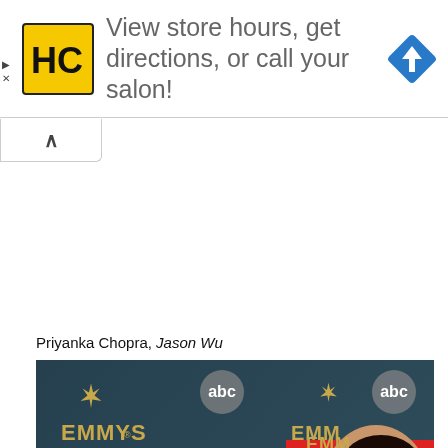[Figure (screenshot): Advertisement banner for Hair Club (HC) with yellow logo, text 'View store hours, get directions, or call your salon!' and a blue navigation diamond icon on the right. Small play and X icons on left edge.]
[Figure (screenshot): Collapse/minimize button with an upward caret (^)]
Priyanka Chopra, Jason Wu
[Figure (photo): Priyanka Chopra at the 2016 Emmy Awards step-and-repeat backdrop featuring EMMYS and abc logos, wearing a red backless gown by Jason Wu]